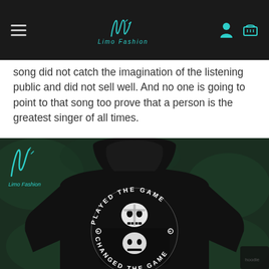Limo Fashion
song did not catch the imagination of the listening public and did not sell well. And no one is going to point to that song too prove that a person is the greatest singer of all times.
[Figure (photo): Black hoodie with skull graphic and text reading 'PLAYED THE GAME CHANGED THE GAME' in a circular design on the front. Limo Fashion logo visible in the top left of the image.]